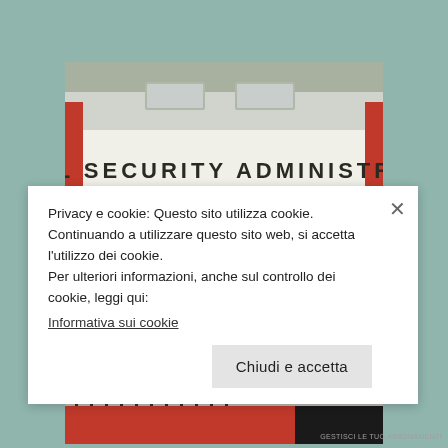[Figure (photo): Exterior photo of a Social Security Administration office building. The facade shows a large sign reading 'SOCIAL SECURITY ADMINISTRATION' in bold letters on a white/grey building with glass entrance doors and metal railings.]
$900 Grocery Allowance For Seniors On Medicare
bestmedicareplans.com
Privacy e cookie: Questo sito utilizza cookie. Continuando a utilizzare questo sito web, si accetta l'utilizzo dei cookie.
Per ulteriori informazioni, anche sul controllo dei cookie, leggi qui:
Informativa sui cookie
Chiudi e accetta